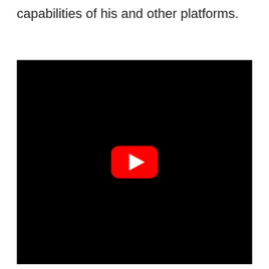capabilities of his and other platforms.
[Figure (screenshot): Embedded YouTube video player showing a black screen with the YouTube play button (red rounded rectangle with white play triangle) centered in the frame.]